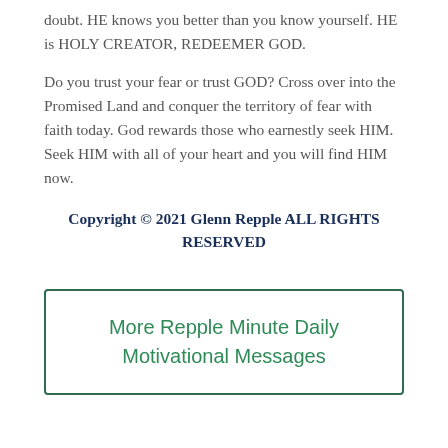doubt. HE knows you better than you know yourself. HE is HOLY CREATOR, REDEEMER GOD.
Do you trust your fear or trust GOD? Cross over into the Promised Land and conquer the territory of fear with faith today. God rewards those who earnestly seek HIM. Seek HIM with all of your heart and you will find HIM now.
Copyright © 2021 Glenn Repple ALL RIGHTS RESERVED
More Repple Minute Daily Motivational Messages